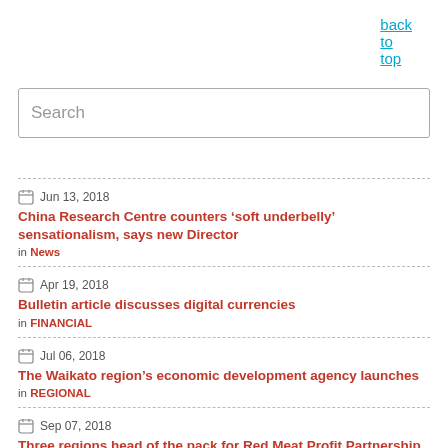back to top
Search
Jun 13, 2018 — China Research Centre counters ‘soft underbelly’ sensationalism, says new Director — in News
Apr 19, 2018 — Bulletin article discusses digital currencies — in FINANCIAL
Jul 06, 2018 — The Waikato region’s economic development agency launches — in REGIONAL
Sep 07, 2018 — Three regions head of the pack for Red Meat Profit Partnership Action Network registrations